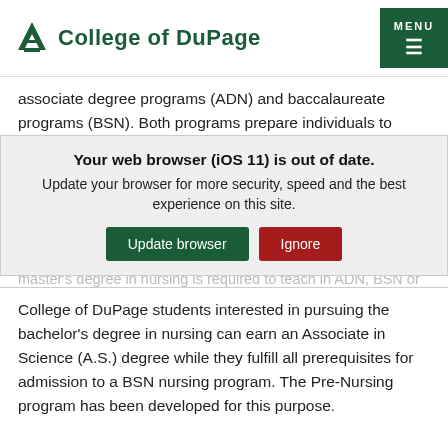College of DuPage
associate degree programs (ADN) and baccalaureate programs (BSN). Both programs prepare individuals to
[Figure (screenshot): Browser update modal overlay with message: 'Your web browser (iOS 11) is out of date. Update your browser for more security, speed and the best experience on this site.' with 'Update browser' (green) and 'Ignore' (red) buttons. Behind the modal, greyed-out text about baccalaureate program career options is partially visible.]
College of DuPage students interested in pursuing the bachelor's degree in nursing can earn an Associate in Science (A.S.) degree while they fulfill all prerequisites for admission to a BSN nursing program. The Pre-Nursing program has been developed for this purpose.